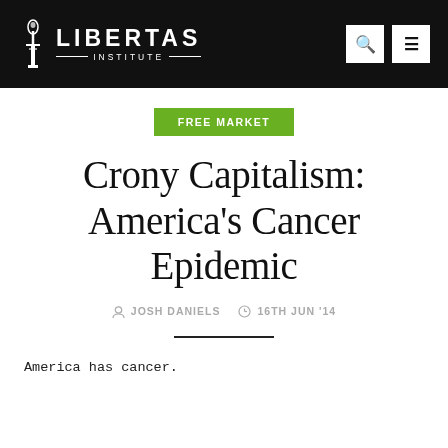LIBERTAS INSTITUTE
FREE MARKET
Crony Capitalism: America's Cancer Epidemic
JOSH DANIELS  16TH JUN '14
America has cancer.